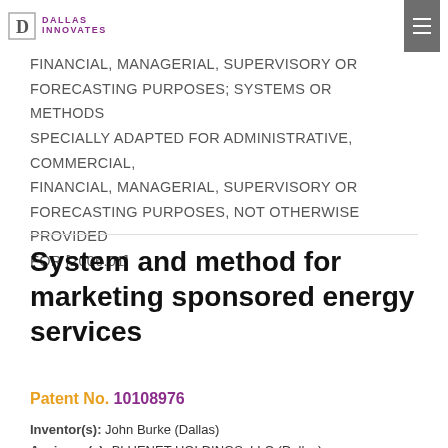DALLAS INNOVATES
FINANCIAL, MANAGERIAL, SUPERVISORY OR FORECASTING PURPOSES; SYSTEMS OR METHODS SPECIALLY ADAPTED FOR ADMINISTRATIVE, COMMERCIAL, FINANCIAL, MANAGERIAL, SUPERVISORY OR FORECASTING PURPOSES, NOT OTHERWISE PROVIDED FOR [2006.01]
System and method for marketing sponsored energy services
Patent No. 10108976
Inventor(s): John Burke (Dallas)
Assignee(s): BLUENET HOLDINGS, LLC (Dallas)